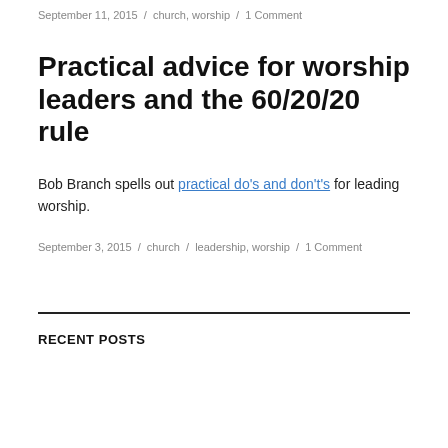September 11, 2015 / church, worship / 1 Comment
Practical advice for worship leaders and the 60/20/20 rule
Bob Branch spells out practical do’s and don’t’s for leading worship.
September 3, 2015 / church / leadership, worship / 1 Comment
RECENT POSTS